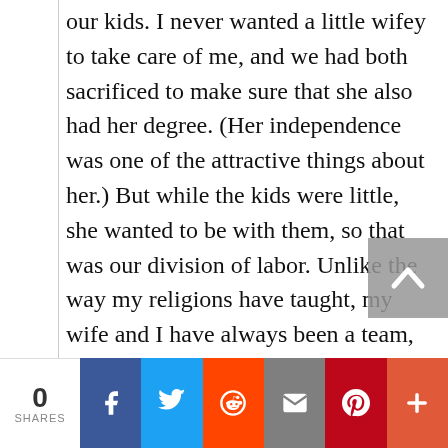our kids. I never wanted a little wifey to take care of me, and we had both sacrificed to make sure that she also had her degree. (Her independence was one of the attractive things about her.) But while the kids were little, she wanted to be with them, so that was our division of labor. Unlike the way my religions have taught, my wife and I have always been a team, neither of us makes the ‘final decision’ or
0 SHARES [Facebook] [Twitter] [Reddit] [Email] [Pinterest] [Plus]